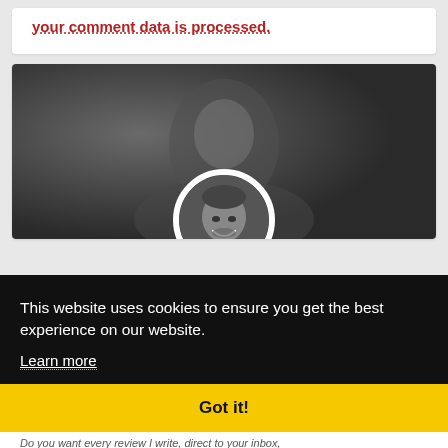your comment data is processed.
[Figure (photo): Black and white banner photo with a circular portrait of a smiling middle-aged man overlapping the bottom edge]
This website uses cookies to ensure you get the best experience on our website.
Learn more
Got it!
Do you want every review I write, direct to your inbox,